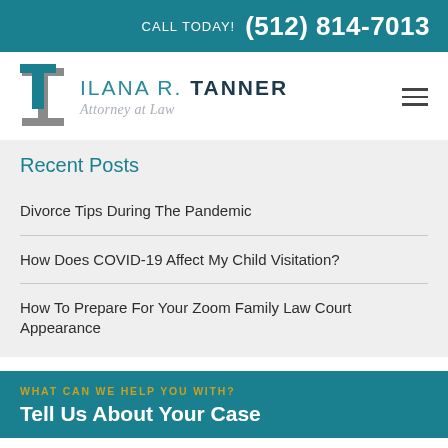CALL TODAY! (512) 814-7013
[Figure (logo): Ilana R. Tanner Attorney at Law logo with teal and grey 'T' lettermark]
Recent Posts
Divorce Tips During The Pandemic
How Does COVID-19 Affect My Child Visitation?
How To Prepare For Your Zoom Family Law Court Appearance
WHAT CAN WE HELP YOU WITH?
Tell Us About Your Case